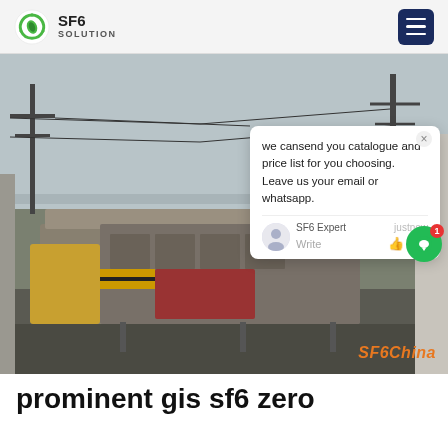SF6 SOLUTION
[Figure (photo): Outdoor electrical substation with SF6 gas handling equipment on a truck/trailer, power lines and towers in the background, overcast sky. A chat popup overlay is visible in the top-right of the image with the text: 'we cansend you catalogue and price list for you choosing. Leave us your email or whatsapp.' Signed by SF6 Expert. A green chat bubble button with badge '1' is visible. 'SF6China' watermark in orange italic text at bottom-right.]
prominent gis sf6 zero